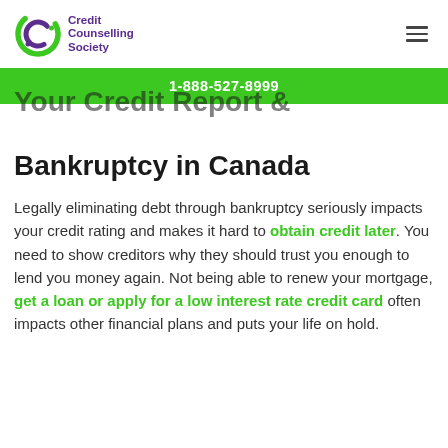Credit Counselling Society | 1-888-527-8999
Your Credit Report & Bankruptcy in Canada
Legally eliminating debt through bankruptcy seriously impacts your credit rating and makes it hard to obtain credit later. You need to show creditors why they should trust you enough to lend you money again. Not being able to renew your mortgage, get a loan or apply for a low interest rate credit card often impacts other financial plans and puts your life on hold.